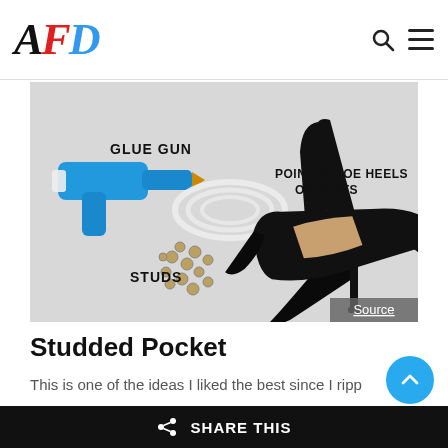AFD — navigation header with search and menu icons
[Figure (photo): Flat-lay photo showing DIY shoe studding supplies: a blue glue gun labeled 'GLUE GUN', metal studs labeled 'STUDS', and two black pointed-toe high heels labeled 'POINTED TOE HEELS OR FLATS', all on a white background. A 'Source' badge appears in the bottom-right corner.]
Studded Pocket
This is one of the ideas I liked the best since I ripp
SHARE THIS